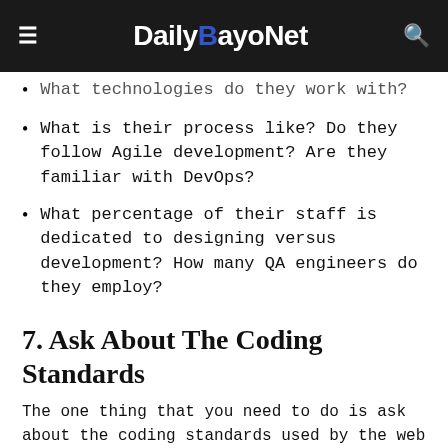DailyBayoNet
What technologies do they work with?
What is their process like? Do they follow Agile development? Are they familiar with DevOps?
What percentage of their staff is dedicated to designing versus development? How many QA engineers do they employ?
7. Ask About The Coding Standards
The one thing that you need to do is ask about the coding standards used by the web developers. This includes whether they use HTML or Flash, have a custom scripting language, and have different templates for different websites. All of these factors should be considered before selecting any